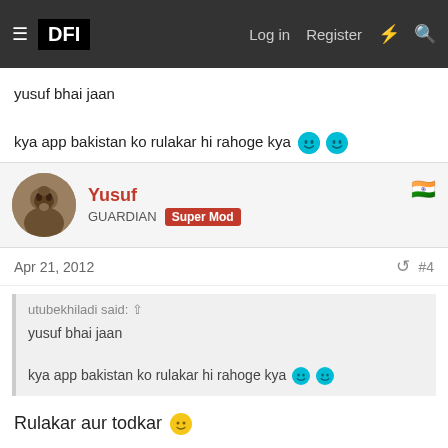DFI | Log in | Register
yusuf bhai jaan

kya app bakistan ko rulakar hi rahoge kya 😄😄
Yusuf
GUARDIAN Super Mod
Apr 21, 2012  #4
utubekhiladi said:
yusuf bhai jaan

kya app bakistan ko rulakar hi rahoge kya 😄😄
Rulakar aur todkar 🙂